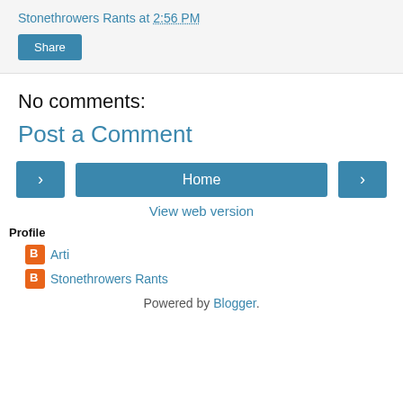Stonethrowers Rants at 2:56 PM
Share
No comments:
Post a Comment
Home
View web version
Profile
Arti
Stonethrowers Rants
Powered by Blogger.